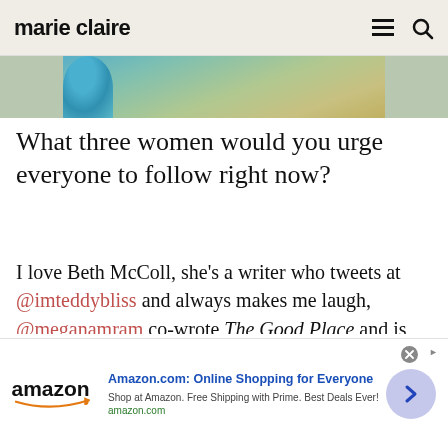marie claire
[Figure (photo): Partial photo strip showing a teal/blue bowl and blurred background, cropped at top]
What three women would you urge everyone to follow right now?
I love Beth McColl, she's a writer who tweets at @imteddybliss and always makes me laugh, @meganamram co-wrote The Good Place and is really really funny (obviously) and also Lou Sanders @LouSanders who is one of my favourite comedians and tweets loads of really
[Figure (screenshot): Amazon advertisement banner: 'Amazon.com: Online Shopping for Everyone' with Amazon logo, sub-text 'Shop at Amazon. Free Shipping with Prime. Best Deals Ever! amazon.com', and a blue arrow button on the right.]